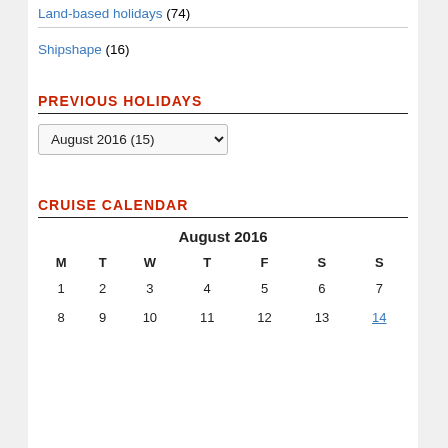Land-based holidays (74)
Shipshape (16)
PREVIOUS HOLIDAYS
August 2016  (15)
CRUISE CALENDAR
| M | T | W | T | F | S | S |
| --- | --- | --- | --- | --- | --- | --- |
| 1 | 2 | 3 | 4 | 5 | 6 | 7 |
| 8 | 9 | 10 | 11 | 12 | 13 | 14 |